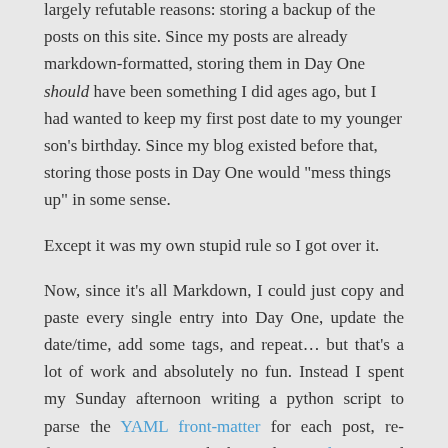largely refutable reasons: storing a backup of the posts on this site. Since my posts are already markdown-formatted, storing them in Day One should have been something I did ages ago, but I had wanted to keep my first post date to my younger son’s birthday. Since my blog existed before that, storing those posts in Day One would “mess things up” in some sense.
Except it was my own stupid rule so I got over it.
Now, since it’s all Markdown, I could just copy and paste every single entry into Day One, update the date/time, add some tags, and repeat… but that’s a lot of work and absolutely no fun. Instead I spent my Sunday afternoon writing a python script to parse the YAML front-matter for each post, re-format any content which used Liquid tags and Jekyll plugins, and rip out images to a local directory so that all of this could be imported to a Blog journal via the Day One CLI.
This mostly worked, except where it did not, for instance
Any remote images whose links were broken. The code doesn’t